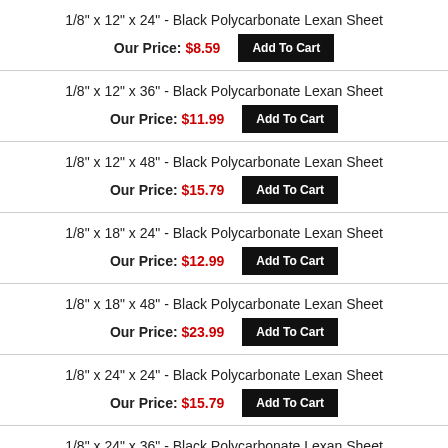1/8" x 12" x 24" - Black Polycarbonate Lexan Sheet
Our Price: $8.59
1/8" x 12" x 36" - Black Polycarbonate Lexan Sheet
Our Price: $11.99
1/8" x 12" x 48" - Black Polycarbonate Lexan Sheet
Our Price: $15.79
1/8" x 18" x 24" - Black Polycarbonate Lexan Sheet
Our Price: $12.99
1/8" x 18" x 48" - Black Polycarbonate Lexan Sheet
Our Price: $23.99
1/8" x 24" x 24" - Black Polycarbonate Lexan Sheet
Our Price: $15.79
1/8" x 24" x 36" - Black Polycarbonate Lexan Sheet